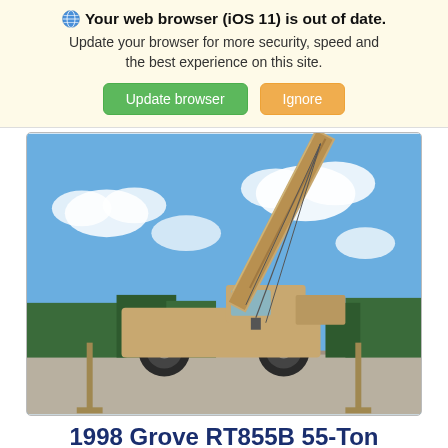Your web browser (iOS 11) is out of date. Update your browser for more security, speed and the best experience on this site.
[Figure (photo): A 1998 Grove RT855B 55-Ton rough terrain crane with a tall extended boom, photographed outdoors against a partly cloudy blue sky. The crane is tan/beige colored, mounted on large off-road tires, with outriggers deployed.]
1998 Grove RT855B 55-Ton